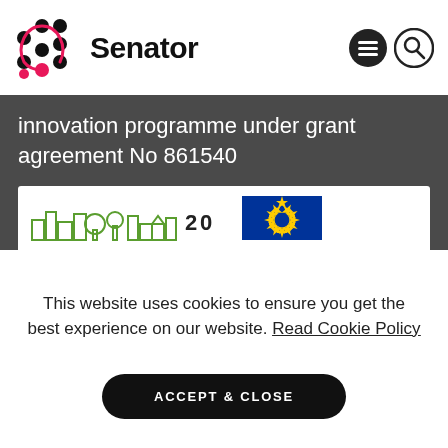[Figure (logo): Senator project logo: dots connected by a pink curvy line forming a scatter pattern, next to bold text 'Senator']
[Figure (other): Menu icon (hamburger) and search icon (magnifying glass) in dark circles]
innovation programme under grant agreement No 861540
[Figure (other): Strip showing a green illustrated cityscape/buildings logo with '20' text and a blue EU flag with yellow stars]
This website uses cookies to ensure you get the best experience on our website. Read Cookie Policy
ACCEPT & CLOSE